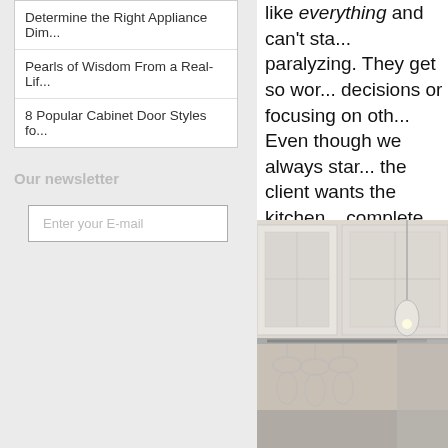Determine the Right Appliance Dim...
Pearls of Wisdom From a Real-Lif...
8 Popular Cabinet Door Styles fo...
Our newsletter
Enter your E-mail
like everything and can't sta... paralyzing. They get so wor... decisions or focusing on oth... Even though we always star... the client wants the kitchen... complete.
I view kitchen remodels as a... to make them after space pl...
[Figure (photo): Kitchen interior photo showing white upper cabinets with glass doors and hanging wine glasses underneath, pendant light visible]